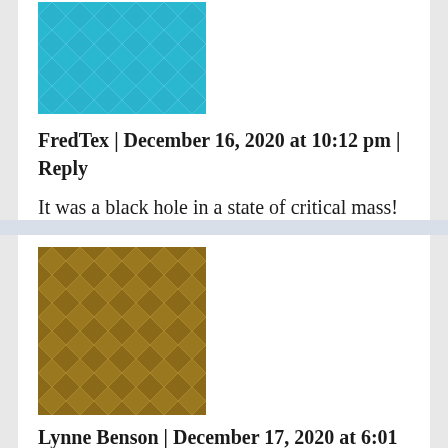[Figure (illustration): Cyan/turquoise geometric quilt-pattern avatar icon]
FredTex | December 16, 2020 at 10:12 pm | Reply
It was a black hole in a state of critical mass!
[Figure (illustration): Dark yellow/olive geometric quilt-pattern avatar icon]
Lynne Benson | December 17, 2020 at 6:01 pm | Reply
Quit acting as if the Big Bang was a “thing”. It is an idea. And there are other ideas. What if the red shift was